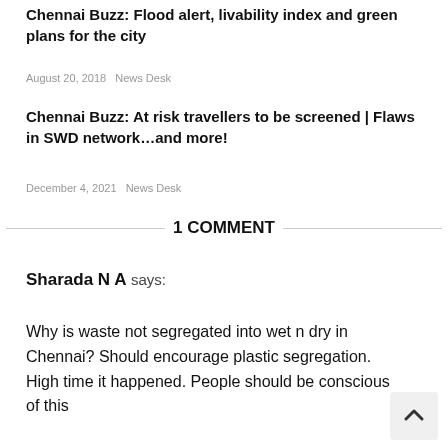Chennai Buzz: Flood alert, livability index and green plans for the city
August 20, 2018   News Desk
Chennai Buzz: At risk travellers to be screened | Flaws in SWD network…and more!
December 4, 2021   News Desk
1 COMMENT
Sharada N A says:
Why is waste not segregated into wet n dry in Chennai? Should encourage plastic segregation. High time it happened. People should be conscious of this